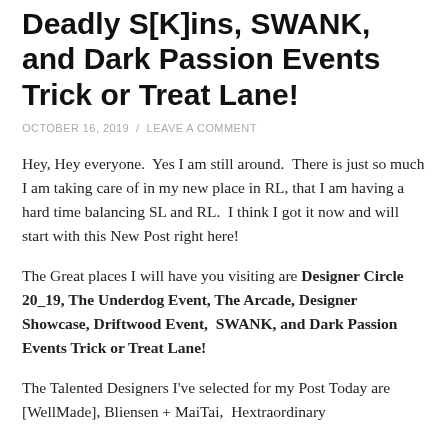Deadly S[K]ins, SWANK, and Dark Passion Events Trick or Treat Lane!
OCTOBER 16, 2019 / LEAVE A COMMENT
Hey, Hey everyone.  Yes I am still around.  There is just so much I am taking care of in my new place in RL, that I am having a hard time balancing SL and RL.  I think I got it now and will start with this New Post right here!
The Great places I will have you visiting are Designer Circle 20_19, The Underdog Event, The Arcade, Designer Showcase, Driftwood Event,  SWANK, and Dark Passion Events Trick or Treat Lane!
The Talented Designers I've selected for my Post Today are [WellMade], Bliensen + MaiTai,  Hextraordinary